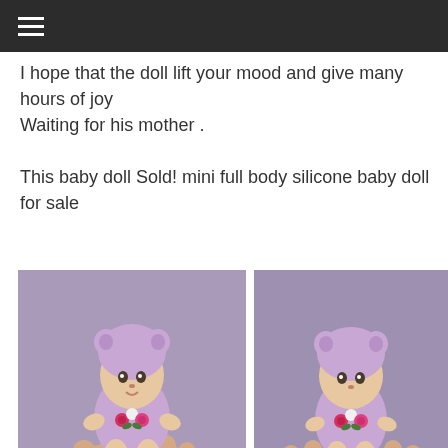≡
I hope that the doll lift your mood and give many hours of joy
Waiting for his mother .

This baby doll Sold! mini full body silicone baby doll for sale
[Figure (photo): Small mini silicone baby doll wearing a lavender knit bear-ear hat and outfit with embroidered roses, held in a person's open palm, photographed against a gray fabric background.]
[Figure (photo): Close-up of the same mini silicone baby doll in lavender knit bear-ear outfit with roses, held in cupped hands, photographed against gray fabric background. A purple chevron arrow is visible in the bottom right corner.]